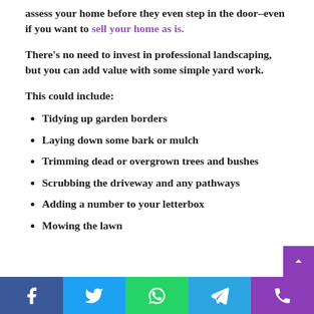assess your home before they even step in the door–even if you want to sell your home as is.
There's no need to invest in professional landscaping, but you can add value with some simple yard work.
This could include:
Tidying up garden borders
Laying down some bark or mulch
Trimming dead or overgrown trees and bushes
Scrubbing the driveway and any pathways
Adding a number to your letterbox
Mowing the lawn